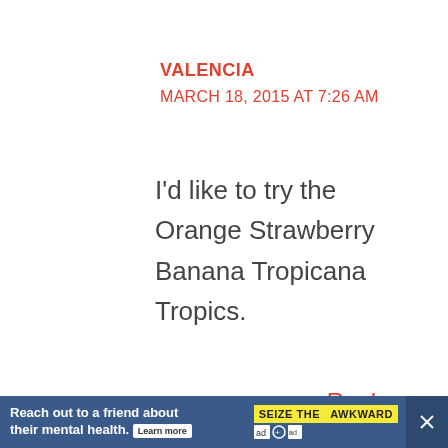VALENCIA
MARCH 18, 2015 AT 7:26 AM
I'd like to try the Orange Strawberry Banana Tropicana Tropics.
Reply
STEVE CAPELL
Reach out to a friend about their mental health. Learn more | SEIZE THE AWKWARD